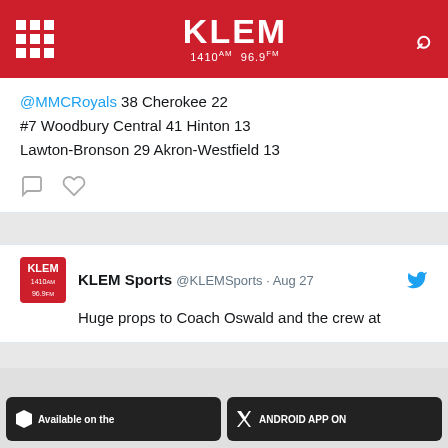KLEM 1410 AM 96.9 FM
@MMCRoyals 38 Cherokee 22
#7 Woodbury Central 41 Hinton 13
Lawton-Bronson 29 Akron-Westfield 13
KLEM Sports @KLEMSports · Aug 27
Huge props to Coach Oswald and the crew at
[Figure (logo): KLEM 1410 AM 96.9 FM radio station large logo on gray background]
Available on the
ANDROID APP ON